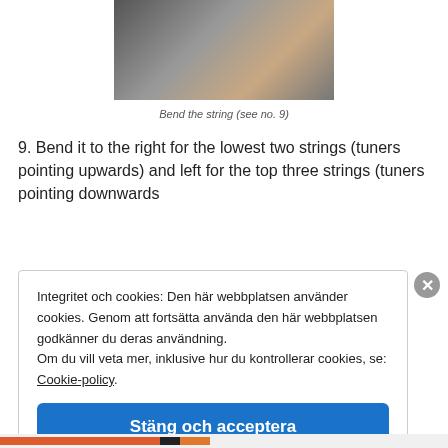[Figure (photo): Close-up photo of fingers bending a guitar string near the tuning pegs]
Bend the string (see no. 9)
9. Bend it to the right for the lowest two strings (tuners pointing upwards) and left for the top three strings (tuners pointing downwards
Integritet och cookies: Den här webbplatsen använder cookies. Genom att fortsätta använda den här webbplatsen godkänner du deras användning.
Om du vill veta mer, inklusive hur du kontrollerar cookies, se: Cookie-policy.
Stäng och acceptera